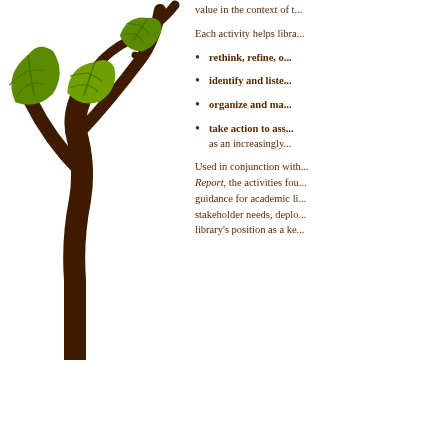[Figure (illustration): A stylized tree with dark brown trunk and branches, with green oak-like leaves, positioned in the left column.]
value in the context of t...
Each activity helps libra...
rethink, refine, o...
identify and liste...
organize and ma...
take action to ass... as an increasingly...
Used in conjunction with... Report, the activities fou... guidance for academic li... stakeholder needs, deplo... library's position as a ke...